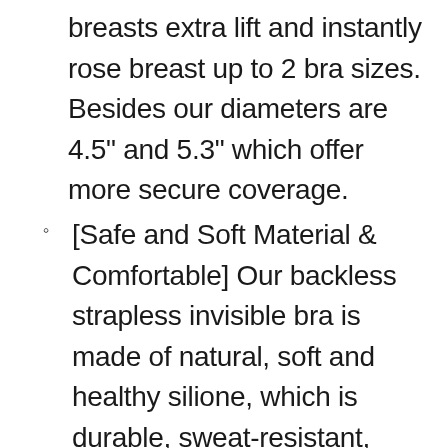breasts extra lift and instantly rose breast up to 2 bra sizes. Besides our diameters are 4.5" and 5.3" which offer more secure coverage.
[Safe and Soft Material & Comfortable] Our backless strapless invisible bra is made of natural, soft and healthy silione, which is durable, sweat-resistant, washable and reusable with super strong adhesiveness. It has biological glue inside the the cup to help keep the wedding backless